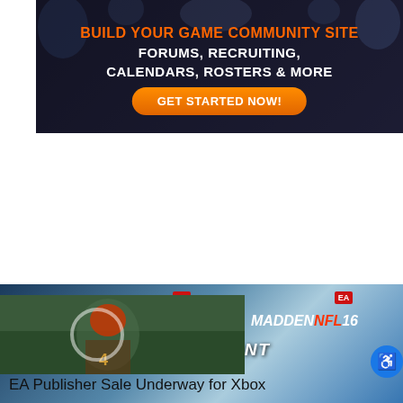[Figure (infographic): Dark themed banner ad: BUILD YOUR GAME COMMUNITY SITE - FORUMS, RECRUITING, CALENDARS, ROSTERS & MORE - GET STARTED NOW! button]
[Figure (infographic): EA games promotional banner showing FIFA 16, Star Wars Battlefront, and Madden NFL 16 game covers]
[Figure (infographic): Football player photo (Cleveland Browns) with circular overlay and popup: Why Did The NFL Give Deshaun Watson An 11-Game Suspension?]
[Figure (infographic): Xbox green banner: SAVE UP TO 60 OFF]
EA Publisher Sale Underway for Xbox